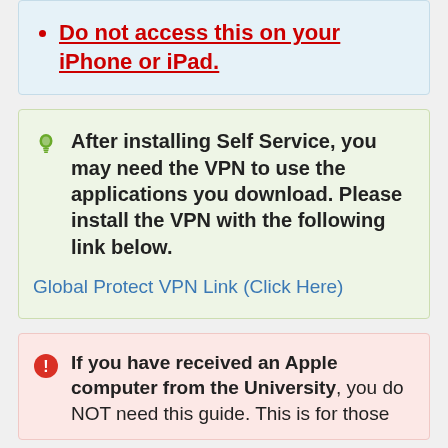Do not access this on your iPhone or iPad.
After installing Self Service, you may need the VPN to use the applications you download. Please install the VPN with the following link below.

Global Protect VPN Link (Click Here)
If you have received an Apple computer from the University, you do NOT need this guide. This is for those...